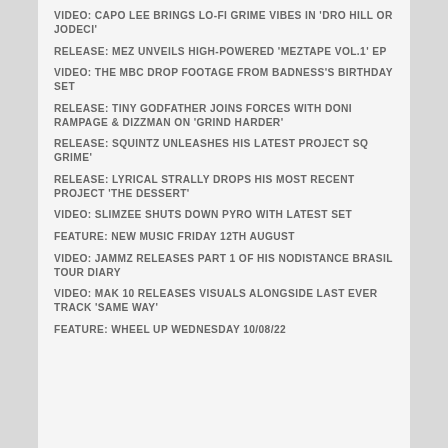VIDEO: CAPO LEE BRINGS LO-FI GRIME VIBES IN 'DRO HILL OR JODECI'
RELEASE: MEZ UNVEILS HIGH-POWERED 'MEZTAPE VOL.1' EP
VIDEO: THE MBC DROP FOOTAGE FROM BADNESS'S BIRTHDAY SET
RELEASE: TINY GODFATHER JOINS FORCES WITH DONI RAMPAGE & DIZZMAN ON 'GRIND HARDER'
RELEASE: SQUINTZ UNLEASHES HIS LATEST PROJECT SQ GRIME'
RELEASE: LYRICAL STRALLY DROPS HIS MOST RECENT PROJECT 'THE DESSERT'
VIDEO: SLIMZEE SHUTS DOWN PYRO WITH LATEST SET
FEATURE: NEW MUSIC FRIDAY 12TH AUGUST
VIDEO: JAMMZ RELEASES PART 1 OF HIS NODISTANCE BRASIL TOUR DIARY
VIDEO: MAK 10 RELEASES VISUALS ALONGSIDE LAST EVER TRACK 'SAME WAY'
FEATURE: WHEEL UP WEDNESDAY 10/08/22